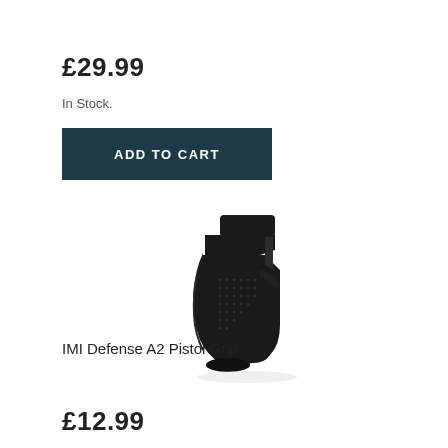£29.99
In Stock.
ADD TO CART
[Figure (photo): IMI Defense A2 Pistol Grip - black polymer pistol grip for AR-style rifles, shown at an angle on white background]
IMI Defense A2 Pistol Grip
£12.99